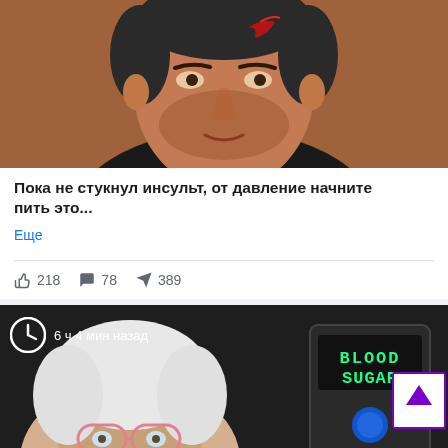[Figure (photo): Close-up photo of a middle-aged man with dark hair and beard, serious expression, wearing dark jacket. Red mark on forehead suggesting injury. Brownish background.]
Пока не стукнул инсульт, от давление начните пить это...
Еще
218  78  389
[Figure (photo): Composite image showing an elderly woman with white hair and pink glasses, a blood glucose meter displaying 'BLOOD SUGAR', and a bowl of green peas. Clock icon with text '6 ч 4 мин назад' overlaid. Purple arrow scroll button on the right.]